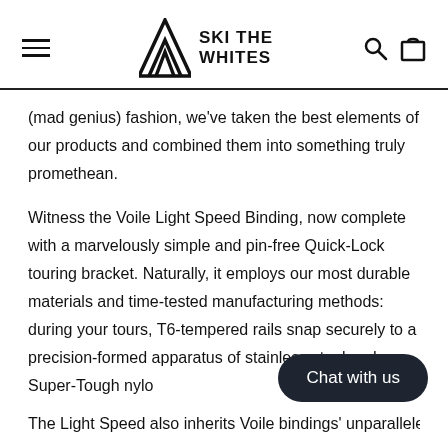SKI THE WHITES
(mad genius) fashion, we've taken the best elements of our products and combined them into something truly promethean.
Witness the Voile Light Speed Binding, now complete with a marvelously simple and pin-free Quick-Lock touring bracket. Naturally, it employs our most durable materials and time-tested manufacturing methods: during your tours, T6-tempered rails snap securely to a precision-formed apparatus of stainless steel and Super-Tough nylo
The Light Speed also inherits Voile bindings' unparalleled